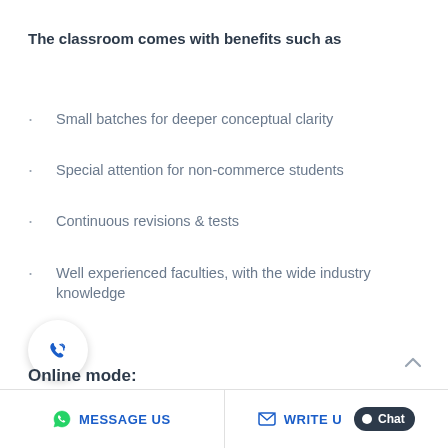The classroom comes with benefits such as
Small batches for deeper conceptual clarity
Special attention for non-commerce students
Continuous revisions & tests
Well experienced faculties, with the wide industry knowledge
MESSAGE US    WRITE US    Chat